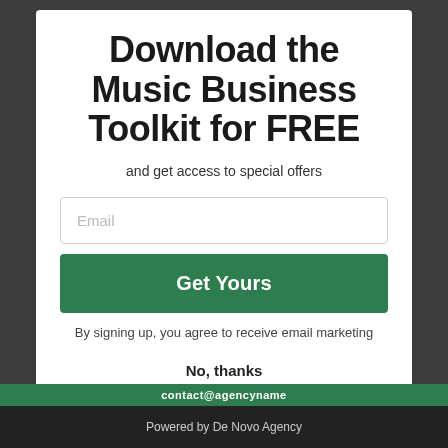Download the Music Business Toolkit for FREE
and get access to special offers
Email
Get Yours
By signing up, you agree to receive email marketing
No, thanks
Powered by De Novo Agency